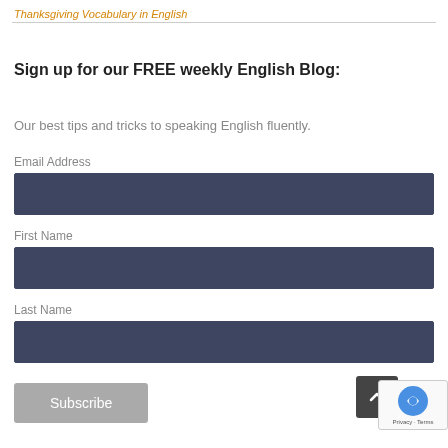Thanksgiving Vocabulary in English
Sign up for our FREE weekly English Blog:
Our best tips and tricks to speaking English fluently.
Email Address
First Name
Last Name
Subscribe